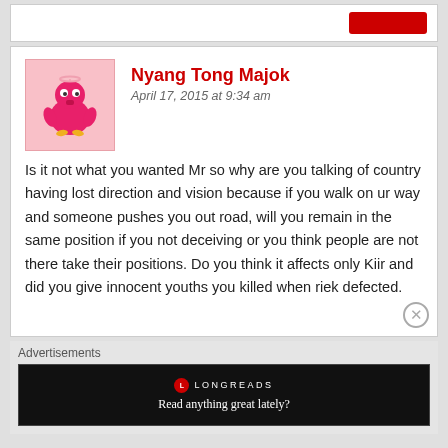[Figure (screenshot): Top partial section of the page showing a red button on a white card]
Nyang Tong Majok
April 17, 2015 at 9:34 am
[Figure (illustration): Pink cartoon character avatar used as user profile picture]
Is it not what you wanted Mr so why are you talking of country having lost direction and vision because if you walk on ur way and someone pushes you out road, will you remain in the same position if you not deceiving or you think people are not there take their positions. Do you think it affects only Kiir and did you give innocent youths you killed when riek defected.
Advertisements
[Figure (screenshot): Longreads advertisement banner with text 'Read anything great lately?' on black background]